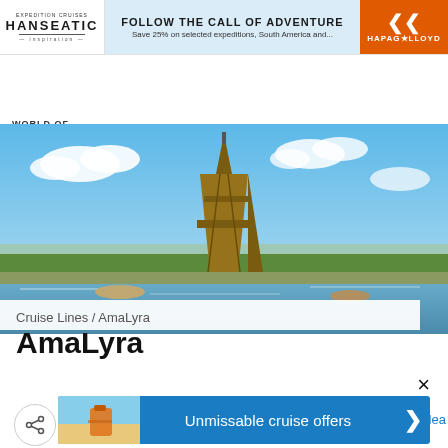[Figure (screenshot): Advertisement banner: HANSEATIC Expedition Cruises logo on left, 'FOLLOW THE CALL OF ADVENTURE / Save 25% on selected expeditions...' in center, HAPAG-LLOYD orange logo on right]
[Figure (logo): World of Cruising logo with italic blue cursive text]
[Figure (photo): Photo of the Eiffel Tower in Paris with blue sky, river Seine in foreground, city buildings and trees]
Cruise Lines / AmaLyra
AmaLyra
[Figure (infographic): Blue advertisement banner reading 'Unmissable cruise offers >' with luggage/beach image on left]